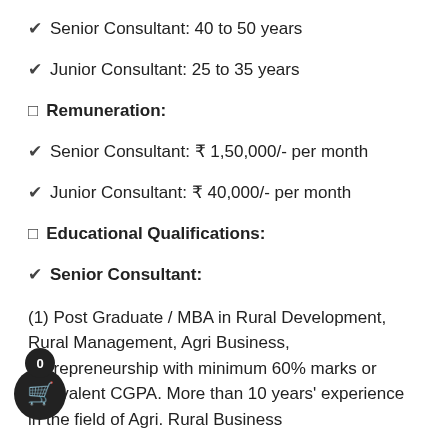✔ Senior Consultant: 40 to 50 years
✔ Junior Consultant: 25 to 35 years
❑ Remuneration:
✔ Senior Consultant: ₹ 1,50,000/- per month
✔ Junior Consultant: ₹ 40,000/- per month
❑ Educational Qualifications:
✔ Senior Consultant:
(1) Post Graduate / MBA in Rural Development, Rural Management, Agri Business, Entrepreneurship with minimum 60% marks or equivalent CGPA. More than 10 years' experience in the field of Agri. Rural Business